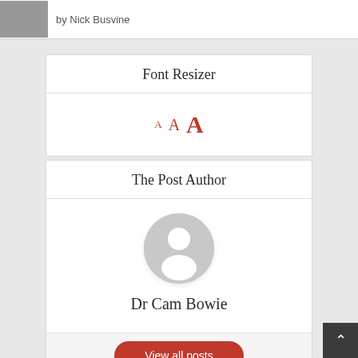by Nick Busvine
Font Resizer
[Figure (other): Font resizer widget showing three A letters in increasing sizes in red/coral color]
The Post Author
[Figure (other): Generic user avatar placeholder - grey circle with white silhouette of person]
Dr Cam Bowie
View all posts